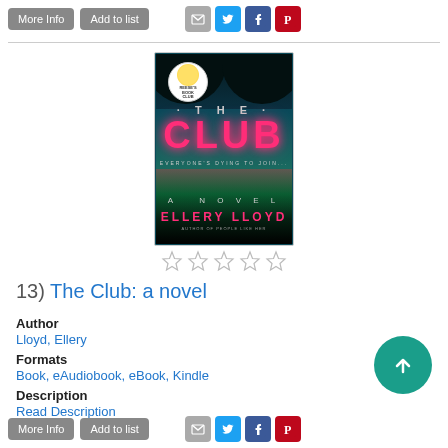[Figure (screenshot): Top action buttons: More Info, Add to list, and social sharing icons (email, Twitter, Facebook, Pinterest)]
[Figure (photo): Book cover of 'The Club: a novel' by Ellery Lloyd. Dark background with neon pink text, forest silhouette, and a glowing pool. Reese's Book Club badge in upper left.]
[Figure (other): Five empty star rating icons]
13)  The Club: a novel
Author
Lloyd, Ellery
Formats
Book, eAudiobook, eBook, Kindle
Description
Read Description
[Figure (screenshot): Bottom action buttons: More Info, Add to list, and social sharing icons]